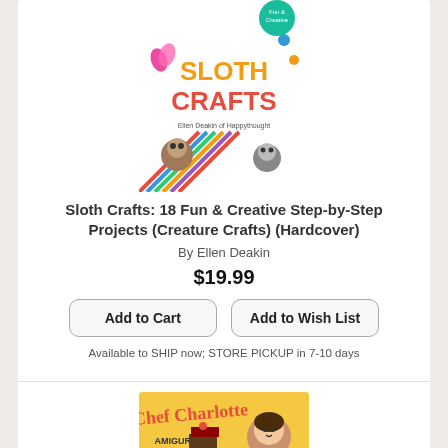[Figure (illustration): Book cover of Sloth Crafts showing colorful craft items and sloth illustrations]
Sloth Crafts: 18 Fun & Creative Step-by-Step Projects (Creature Crafts) (Hardcover)
By Ellen Deakin
$19.99
Add to Cart
Add to Wish List
Available to SHIP now; STORE PICKUP in 7-10 days
[Figure (illustration): Book cover of Chef Charlotte Amigurumi Dress-Up Doll with Tea Party Play Set]